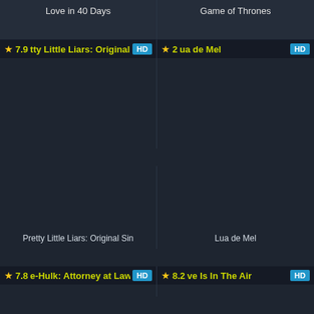Love in 40 Days
Game of Thrones
[Figure (screenshot): TV show card for Pretty Little Liars: Original Sin with rating 7.9 and HD badge]
[Figure (screenshot): TV show card for Lua de Mel with rating 2 and HD badge]
Pretty Little Liars: Original Sin
Lua de Mel
[Figure (screenshot): TV show card for She-Hulk: Attorney at Law with rating 7.8 and HD badge]
[Figure (screenshot): TV show card for Love Is In The Air with rating 8.2 and HD badge]